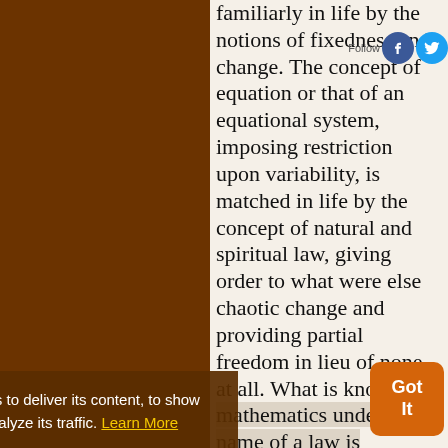familiarly in life by the notions of fixedness and change. The concept of equation or that of an equational system, imposing restriction upon variability, is matched in life by the concept of natural and spiritual law, giving order to what were else chaotic change and providing partial freedom in lieu of none at all. What is known in mathematics under the name of a law is everywhere present in life, in the guise of some ideal, some excellence
This website uses cookies to deliver its content, to show relevant ads and to analyze its traffic. Learn More